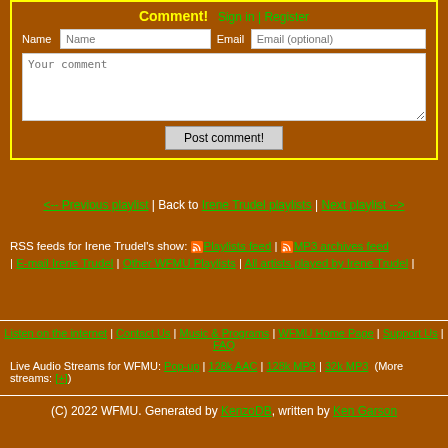Comment! Sign in | Register
Name [input] Email [input]
Your comment [textarea]
Post comment! [button]
<-- Previous playlist | Back to Irene Trudel playlists | Next playlist -->
RSS feeds for Irene Trudel's show: Playlists feed | MP3 archives feed | E-mail Irene Trudel | Other WFMU Playlists | All artists played by Irene Trudel |
Listen on the internet | Contact Us | Music & Programs | WFMU Home Page | Support Us | FAQ
Live Audio Streams for WFMU: Pop-up | 128k AAC | 128k MP3 | 32k MP3 (More streams: [+])
(C) 2022 WFMU. Generated by KenzoDB, written by Ken Garson